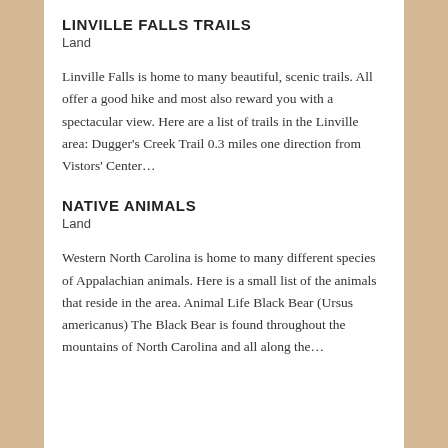LINVILLE FALLS TRAILS
Land
Linville Falls is home to many beautiful, scenic trails. All offer a good hike and most also reward you with a spectacular view. Here are a list of trails in the Linville area: Dugger’s Creek Trail 0.3 miles one direction from Vistors’ Center…
NATIVE ANIMALS
Land
Western North Carolina is home to many different species of Appalachian animals. Here is a small list of the animals that reside in the area. Animal Life Black Bear (Ursus americanus) The Black Bear is found throughout the mountains of North Carolina and all along the…